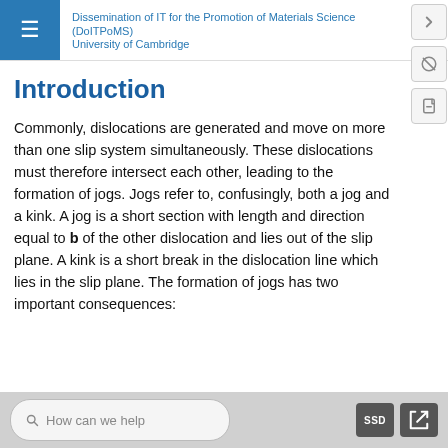Dissemination of IT for the Promotion of Materials Science (DoITPoMS) University of Cambridge
Introduction
Commonly, dislocations are generated and move on more than one slip system simultaneously. These dislocations must therefore intersect each other, leading to the formation of jogs. Jogs refer to, confusingly, both a jog and a kink. A jog is a short section with length and direction equal to b of the other dislocation and lies out of the slip plane. A kink is a short break in the dislocation line which lies in the slip plane. The formation of jogs has two important consequences:
How can we help